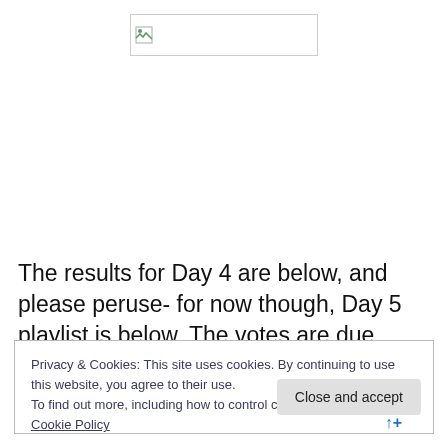[Figure (photo): Broken/unloaded image placeholder with small broken image icon in top-left corner, inside a rectangular border]
The results for Day 4 are below, and please peruse- for now though, Day 5 playlist is below. The votes are due
Privacy & Cookies: This site uses cookies. By continuing to use this website, you agree to their use.
To find out more, including how to control cookies, see here: Cookie Policy
Close and accept